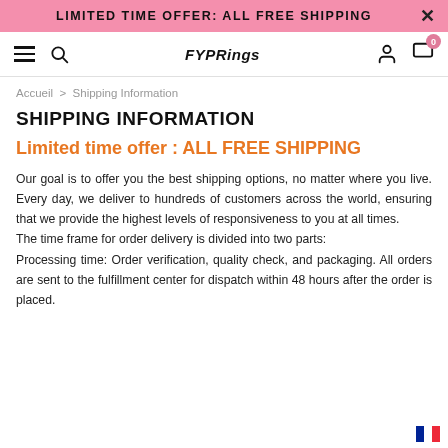LIMITED TIME OFFER: ALL FREE SHIPPING
[Figure (screenshot): Navigation bar with hamburger menu, search icon, FYPRings brand logo, user account icon, and cart icon with badge showing 0]
Accueil > Shipping Information
SHIPPING INFORMATION
Limited time offer : ALL FREE SHIPPING
Our goal is to offer you the best shipping options, no matter where you live. Every day, we deliver to hundreds of customers across the world, ensuring that we provide the highest levels of responsiveness to you at all times.
The time frame for order delivery is divided into two parts:
Processing time: Order verification, quality check, and packaging. All orders are sent to the fulfillment center for dispatch within 48 hours after the order is placed.